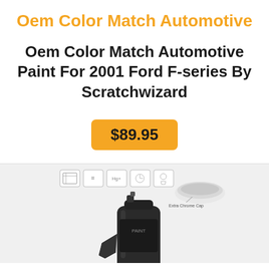Oem Color Match Automotive
Oem Color Match Automotive Paint For 2001 Ford F-series By Scratchwizard
$89.95
[Figure (photo): Product photo of a spray paint can (automotive touch-up paint) with a chrome-finish cap labeled 'Extra Chrome Cap', and feature icons above it showing various product attributes.]